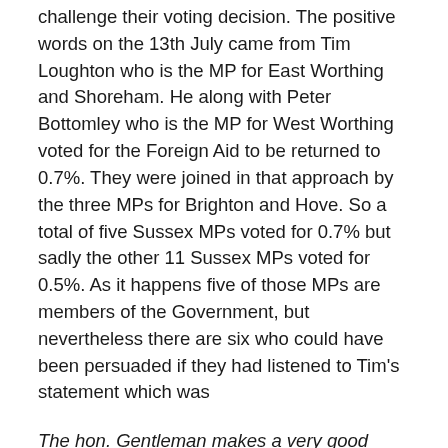challenge their voting decision. The positive words on the 13th July came from Tim Loughton who is the MP for East Worthing and Shoreham. He along with Peter Bottomley who is the MP for West Worthing voted for the Foreign Aid to be returned to 0.7%. They were joined in that approach by the three MPs for Brighton and Hove. So a total of five Sussex MPs voted for 0.7% but sadly the other 11 Sussex MPs voted for 0.5%. As it happens five of those MPs are members of the Government, but nevertheless there are six who could have been persuaded if they had listened to Tim's statement which was
The hon. Gentleman makes a very good point about Yemen, although it should be acknowledged that the UK gave aid to Yemen well in excess of what we had budgeted for, and that we have a very generous record.